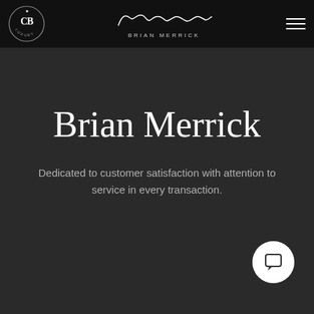Brian Merrick — CB Luxury logo and navigation header
Brian Merrick
Dedicated to customer satisfaction with attention to service in every transaction.